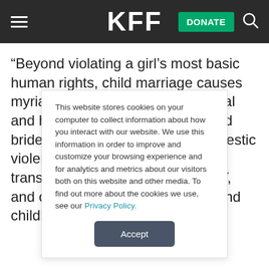KFF
“Beyond violating a girl’s most basic human rights, child marriage causes myriad negative educational, social and health consequences … child brides are at a higher risk for domestic violence, contracting sexually transmitted infections such as HIV, and complications in pregnancy and childbirth,” the authors write. In
This website stores cookies on your computer to collect information about how you interact with our website. We use this information in order to improve and customize your browsing experience and for analytics and metrics about our visitors both on this website and other media. To find out more about the cookies we use, see our Privacy Policy.